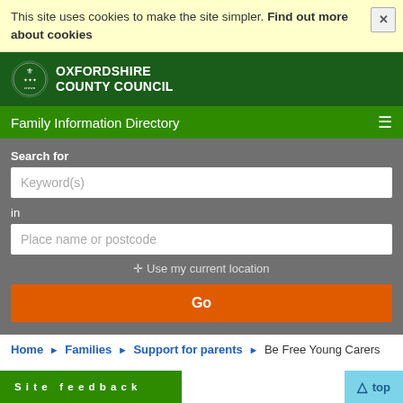This site uses cookies to make the site simpler. Find out more about cookies
[Figure (logo): Oxfordshire County Council crest logo with white text on dark green background]
Family Information Directory
Search for
Keyword(s)
in
Place name or postcode
✦ Use my current location
Go
Home ▶ Families ▶ Support for parents ▶ Be Free Young Carers
Site feedback | top